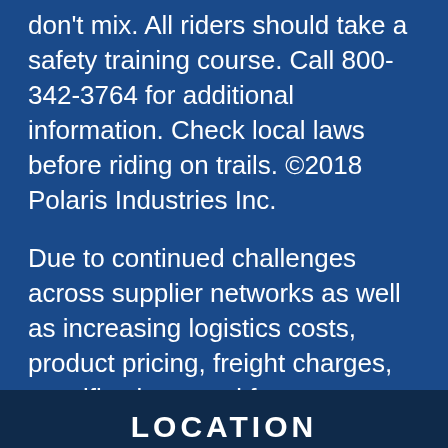don't mix. All riders should take a safety training course. Call 800-342-3764 for additional information. Check local laws before riding on trails. ©2018 Polaris Industries Inc.
Due to continued challenges across supplier networks as well as increasing logistics costs, product pricing, freight charges, specifications, and features are subject to change at any time without prior notice. Please confirm all information with your local dealership.
LOCATION